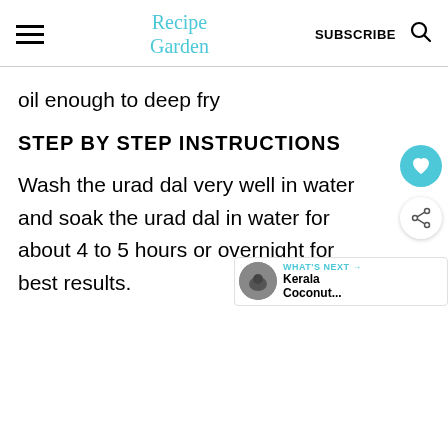Recipe Garden | SUBSCRIBE
oil enough to deep fry
STEP BY STEP INSTRUCTIONS
Wash the urad dal very well in water and soak the urad dal in water for about 4 to 5 hours or overnight for best results.